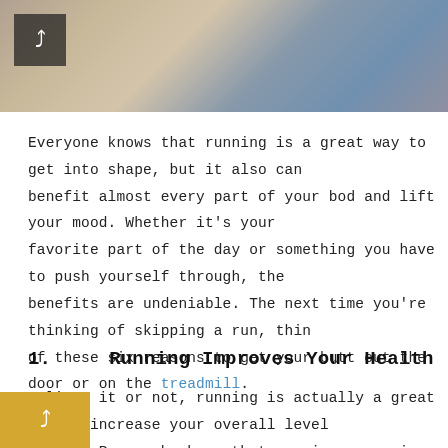[Figure (photo): Cropped photo of a runner in outdoor setting, warm sunlit tone, person wearing light blue top]
Everyone knows that running is a great way to get into shape, but it also can benefit almost every part of your bod and lift your mood. Whether it's your favorite part of the day or something you have to push yourself through, the benefits are undeniable. The next time you're thinking of skipping a run, think of these six reasons to get your butt out the door or on the treadmill.
1.    Running Improves Your Health
Believe it or not, running is actually a great way to increase your overall level of health. Research shows that running can raise your levels of good cholesterol while also helping you increase lung function and use. In addition, running can also boost your immune system and lower your risk of developing blood clot...